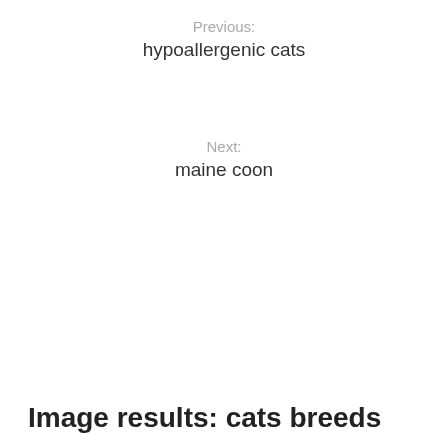Previous:
hypoallergenic cats
Next:
maine coon
Image results: cats breeds